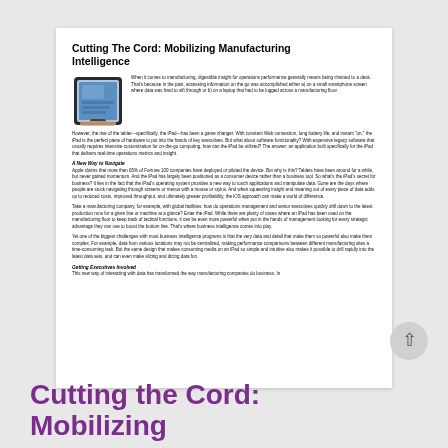Cutting The Cord: Mobilizing Manufacturing Intelligence
[Figure (photo): Hand holding an iPad tablet device showing a blue screen]
When it comes to manufacturing, digestible insight for operations performance generally means being chained to a desk. That's because in the past, accessing information on the go was accomplished either a) on a small smartphone screen where data was hard to sift through or b) on a laptop that had to be lugged across a manufacturing floor.
However, the rise of the tablet—specifically, the iPad—has been a game changer. With constant Web connection, long battery life, and instant "on," the iPad is the perfect piece of hardware to put into the hands of key executives. But what about software functionality? With expensive legacy software that usually requires intensive customization for on-the-go computing, how can the iPad be utilized? The answer: an application built specifically for the iPad that delivers real-time operations metrics and insight.
A New Way to Navigate
Apple claims that more than 65% of Fortune 100 companies have deployed or piloted the device. But why is this? Tablets have been around for a while, but never gained momentum. And the iPad has largely been positioned as a consumer device rather than a business tool. So what's the iPad's secret for business? It lies in the fact that the iPad's operating system provides a new way to touch applications and manipulate data. Gone are the days where people are stuck navigating through screens or menus with a mouse or stylus. And when squeezing insight and meaning out of every piece of data adds up to reduced costs, improved throughput, and ultimately greater profitability, the iOS approach can make a world of difference.
Take a manufacturing company, for example, with global facilities: how do operations management and senior executives quickly drill down to the latest production runs for a given line or machine at a glance? Enter the iPad. While there are plenty of cases where an iPad has been used on the manufacturing floor to keep track of tactical functions, it can be even more powerful when put in the hands of management looking for every strategic advantage they can use to boost the bottom line. That's where business intelligence comes into play.
Yet one of the biggest challenges with most business intelligence programs is that the very data and detail that make them so powerful also make them complex. For example, data from various locations may not be centralized, making performance comparisons between different manufacturing sites a time-consuming task. But the same design that makes consuming media on an iPad so simple and intuitive also makes it possible to drill rapidly into the latest data sets, and can even make slicing and dicing data fun.
Getting Executives Involved
This new way of interacting with data has transformed the way manufacturing companies do business. In
Cutting the Cord: Mobilizing